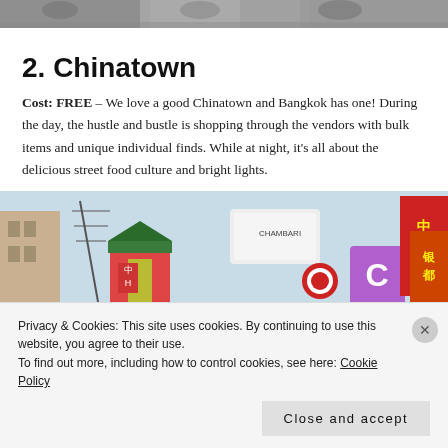[Figure (photo): Top strip of a photo showing people, partially cropped]
2. Chinatown
Cost: FREE – We love a good Chinatown and Bangkok has one! During the day, the hustle and bustle is shopping through the vendors with bulk items and unique individual finds. While at night, it's all about the delicious street food culture and bright lights.
[Figure (photo): Photo of Chinatown street scene with colourful signs including Chinese characters and a pagoda gate]
Privacy & Cookies: This site uses cookies. By continuing to use this website, you agree to their use. To find out more, including how to control cookies, see here: Cookie Policy
Close and accept